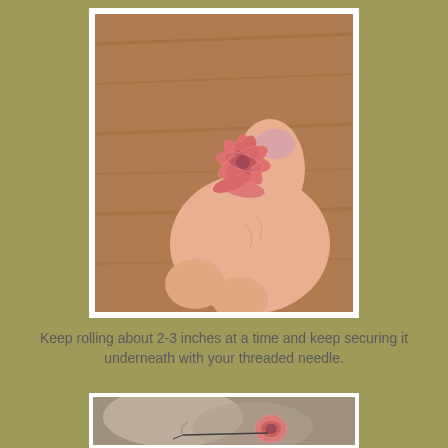[Figure (photo): A close-up photo of a hand holding a small pink ribbon rose, showing rolled fabric petals on a wooden surface background.]
Keep rolling about 2-3 inches at a time and keep securing it underneath with your threaded needle.
[Figure (photo): A partial close-up photo showing a needle being used to secure a small pink ribbon rose from underneath.]